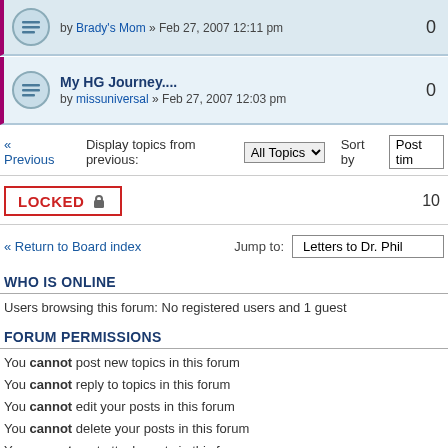by Brady's Mom » Feb 27, 2007 12:11 pm | 0
My HG Journey.... by missuniversal » Feb 27, 2007 12:03 pm | 0
« Previous | Display topics from previous: All Topics | Sort by Post time
LOCKED 🔒 | 10
« Return to Board index | Jump to: Letters to Dr. Phil
WHO IS ONLINE
Users browsing this forum: No registered users and 1 guest
FORUM PERMISSIONS
You cannot post new topics in this forum
You cannot reply to topics in this forum
You cannot edit your posts in this forum
You cannot delete your posts in this forum
You cannot post attachments in this forum
Board index | The team • Delete all boa...
Powered by phpBB® Forum Software © phpBB